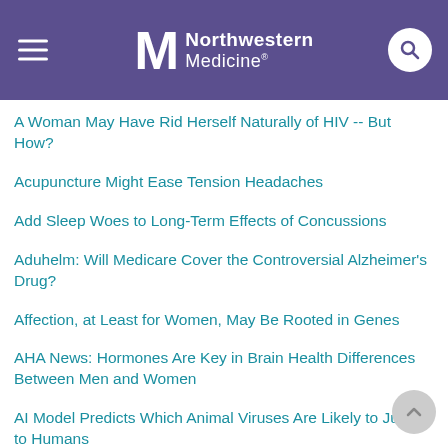Northwestern Medicine
A Woman May Have Rid Herself Naturally of HIV -- But How?
Acupuncture Might Ease Tension Headaches
Add Sleep Woes to Long-Term Effects of Concussions
Aduhelm: Will Medicare Cover the Controversial Alzheimer's Drug?
Affection, at Least for Women, May Be Rooted in Genes
AHA News: Hormones Are Key in Brain Health Differences Between Men and Women
AI Model Predicts Which Animal Viruses Are Likely to Jump to Humans